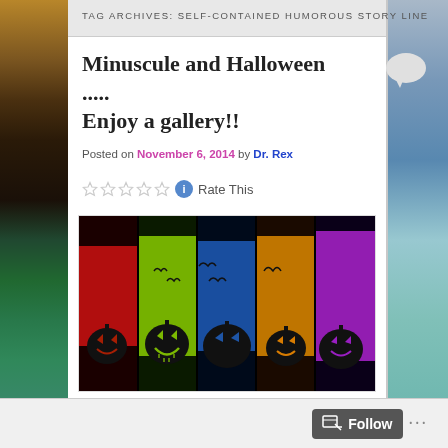TAG ARCHIVES: SELF-CONTAINED HUMOROUS STORY LINE
Minuscule and Halloween ..... Enjoy a gallery!!
Posted on November 6, 2014 by Dr. Rex
Rate This
[Figure (illustration): Five Halloween jack-o'-lanterns side by side against colored backgrounds: red, green, blue, orange, and purple, each with bats flying above]